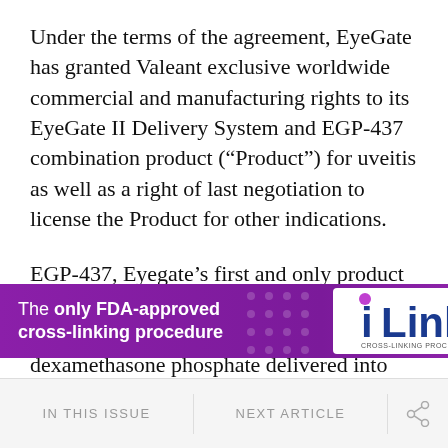Under the terms of the agreement, EyeGate has granted Valeant exclusive worldwide commercial and manufacturing rights to its EyeGate II Delivery System and EGP-437 combination product (“Product”) for uveitis as well as a right of last negotiation to license the Product for other indications.
EGP-437, Eyegate’s first and only product in clinical trials, incorporates a reformulated topically active corticosteroid, dexamethasone phosphate delivered into the ocular tissues through the EyeGate II
[Figure (infographic): Advertisement banner for iLink cross-linking procedure. Purple gradient background with white text reading 'The only FDA-approved cross-linking procedure' and iLink logo on white background.]
IN THIS ISSUE   NEXT ARTICLE